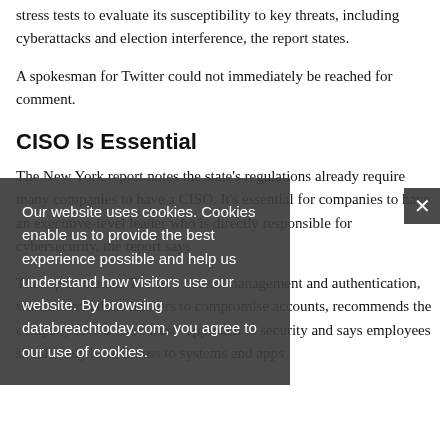stress tests to evaluate its susceptibility to key threats, including cyberattacks and election interference, the report states.
A spokesman for Twitter could not immediately be reached for comment.
CISO Is Essential
The New York report notes the state's regulations already require many companies to have a CISO. It's essential for companies to have an executive-level leader who is directly responsible for cybersecurity, the report says
The report blames Twitter's access management and authentication, which allowed the hackers to compromise accounts, recommends the company take a "zero trust" approach to security and says employees should only have access to systems and apps
Our website uses cookies. Cookies enable us to provide the best experience possible and help us understand how visitors use our website. By browsing databreachtoday.com, you agree to our use of cookies.